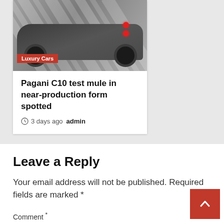[Figure (photo): Camouflaged sports car (Pagani C10 test mule) photographed from front-left angle, with zebra-print camouflage wrap, visible red taillights, and large black wheels. 'Luxury Cars' badge overlaid at bottom-left.]
Pagani C10 test mule in near-production form spotted
3 days ago  admin
Leave a Reply
Your email address will not be published. Required fields are marked *